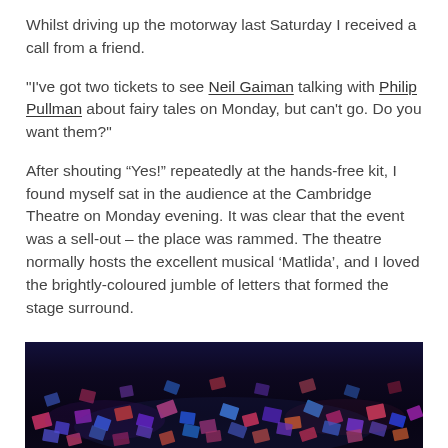Whilst driving up the motorway last Saturday I received a call from a friend.
"I've got two tickets to see Neil Gaiman talking with Philip Pullman about fairy tales on Monday, but can't go. Do you want them?"
After shouting “Yes!” repeatedly at the hands-free kit, I found myself sat in the audience at the Cambridge Theatre on Monday evening. It was clear that the event was a sell-out – the place was rammed. The theatre normally hosts the excellent musical 'Matlida', and I loved the brightly-coloured jumble of letters that formed the stage surround.
[Figure (photo): Dark theatrical stage photo showing brightly-coloured jumble of letter tiles forming the stage surround of the Matilda musical at the Cambridge Theatre, lit in blue, red and purple hues.]